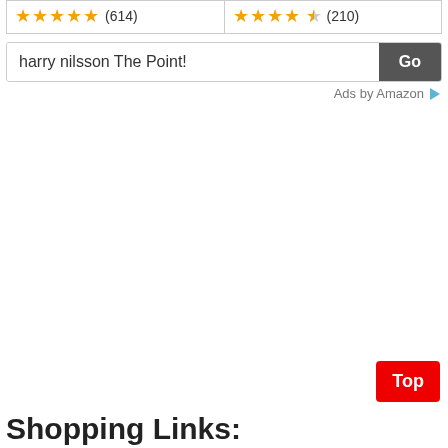[Figure (other): Two rating boxes side by side: left shows 5 gold stars with (614) reviews, right shows 4.5 gold stars with (210) reviews]
[Figure (screenshot): Search bar with text 'harry nilsson The Point!' and a grey 'Go' button]
Ads by Amazon
Top
Shopping Links: